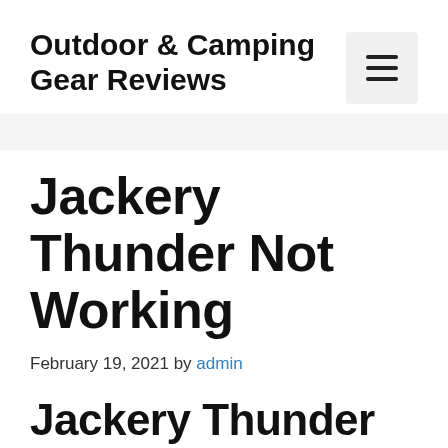Outdoor & Camping Gear Reviews
Jackery Thunder Not Working
February 19, 2021 by admin
Jackery Thunder Not Working